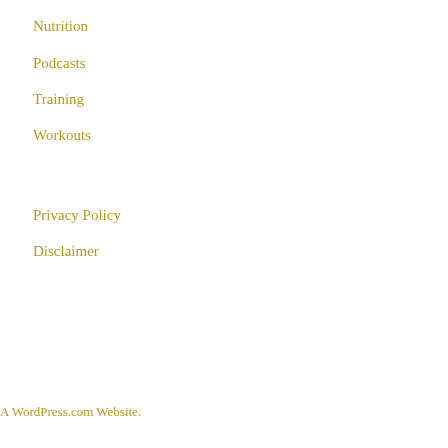Nutrition
Podcasts
Training
Workouts
Privacy Policy
Disclaimer
A WordPress.com Website.